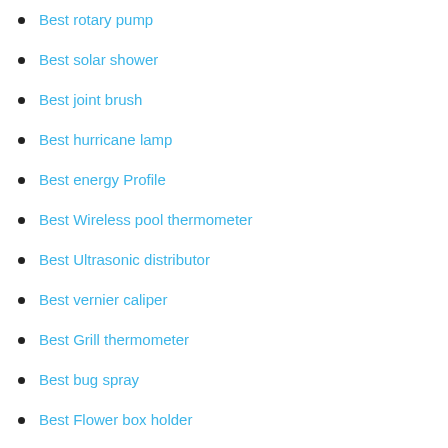Best rotary pump
Best solar shower
Best joint brush
Best hurricane lamp
Best energy Profile
Best Wireless pool thermometer
Best Ultrasonic distributor
Best vernier caliper
Best Grill thermometer
Best bug spray
Best Flower box holder
Best mower
Best cats case